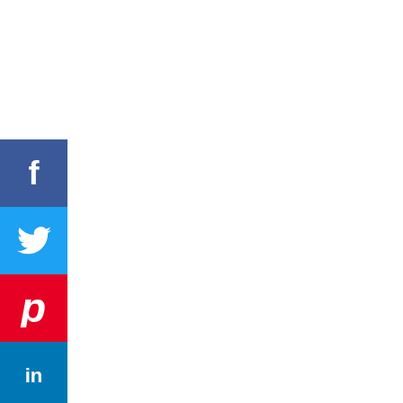[Figure (screenshot): Social media sharing sidebar with Facebook (blue), Twitter (light blue), Pinterest (red), LinkedIn (dark blue), and Tumblr (dark navy) icon buttons stacked vertically on the left side of the page.]
[Figure (logo): Infolinks logo bar — dark background with 'infolinks' text in a blue badge on the left.]
[Figure (screenshot): NFL Shop advertisement banner showing a Dallas Cowboys jersey, text 'NFL Shop', 'Free shipping on orders over $25', 'www.nflshop.com', a close (X) button, and a circular purple CTA arrow button on the right.]